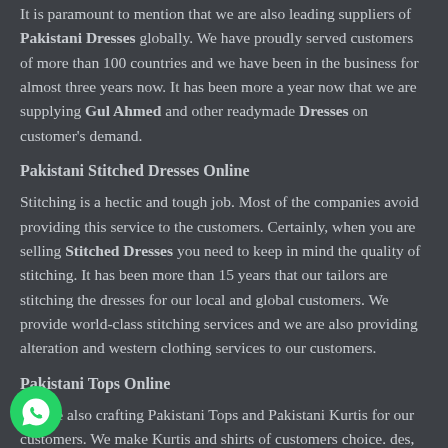It is paramount to mention that we are also leading suppliers of Pakistani Dresses globally. We have proudly served customers of more than 100 countries and we have been in the business for almost three years now. It has been more a year now that we are supplying Gul Ahmed and other readymade Dresses on customer's demand.
Pakistani Stitched Dresses Online
Stitching is a hectic and tough job. Most of the companies avoid providing this service to the customers. Certainly, when you are selling Stitched Dresses you need to keep in mind the quality of stitching. It has been more than 15 years that our tailors are stitching the dresses for our local and global customers. We provide world-class stitching services and we are also providing alteration and western clothing services to our customers.
Pakistani Tops Online
We are also crafting Pakistani Tops and Pakistani Kurtis for our customers. We make Kurtis and shirts of customers choice. des, we are also providing Traditional Dresses of Pakistani Culture and has been very successful in it to par extent.